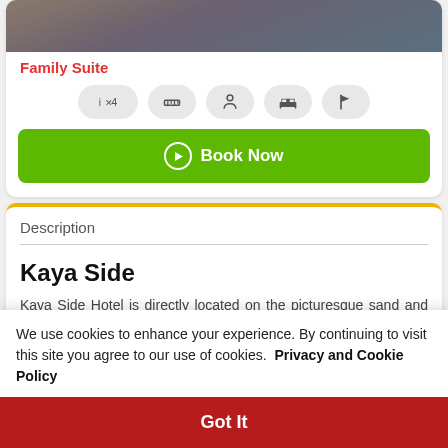[Figure (photo): Top portion of hotel room photo (partially visible)]
Family Suite
[Figure (infographic): Row of amenity icons: persons x4, ruler/size, person/accessibility, bed, flag/direction]
Book Now
Description
Kaya Side
Kaya Side Hotel is directly located on the picturesque sand and gravel beach of Side-Titreyengöl. Enjoy the
We use cookies to enhance your experience. By continuing to visit this site you agree to our use of cookies.  Privacy and Cookie Policy
Got It